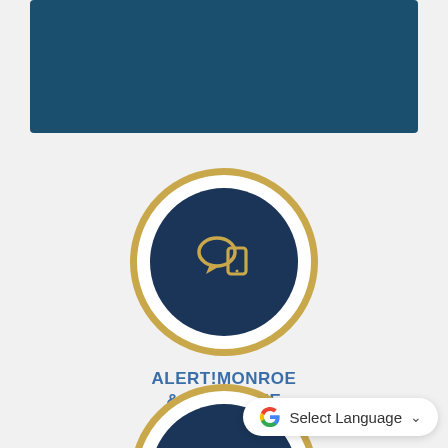[Figure (illustration): Teal/dark blue banner rectangle at top of page]
[Figure (illustration): Gold-bordered circle with dark navy inner circle containing a gold speech bubble and smartphone icon]
ALERT!MONROE
& NOTIFY ME
Sign Up Here
[Figure (illustration): Partially visible gold-bordered circle with dark navy inner circle at bottom of page]
[Figure (screenshot): Google Translate 'Select Language' widget button in bottom right corner]